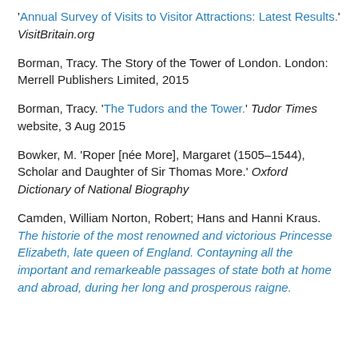'Annual Survey of Visits to Visitor Attractions: Latest Results.' VisitBritain.org
Borman, Tracy. The Story of the Tower of London. London: Merrell Publishers Limited, 2015
Borman, Tracy. 'The Tudors and the Tower.' Tudor Times website, 3 Aug 2015
Bowker, M. 'Roper [née More], Margaret (1505–1544), Scholar and Daughter of Sir Thomas More.' Oxford Dictionary of National Biography
Camden, William Norton, Robert; Hans and Hanni Kraus. The historie of the most renowned and victorious Princesse Elizabeth, late queen of England. Contayning all the important and remarkeable passages of state both at home and abroad, during her long and prosperous raigne.